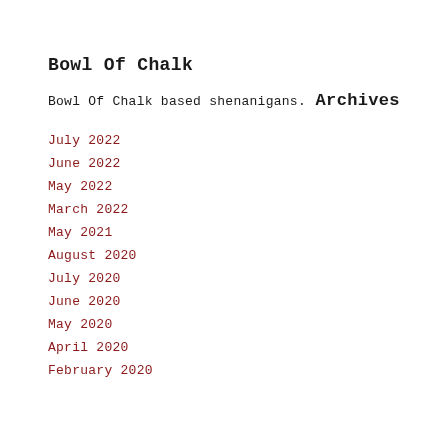Bowl Of Chalk
Bowl Of Chalk based shenanigans.
Archives
July 2022
June 2022
May 2022
March 2022
May 2021
August 2020
July 2020
June 2020
May 2020
April 2020
February 2020